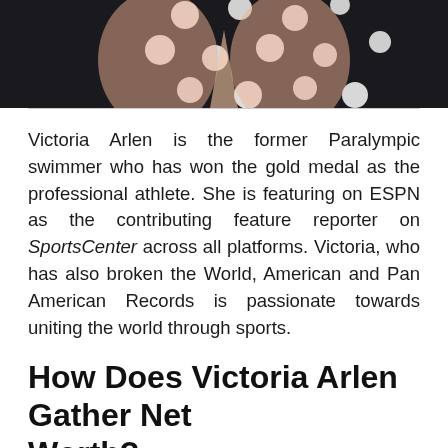[Figure (photo): Partial photo of Victoria Arlen wearing a black polka-dot top, cropped to show upper torso area only]
Victoria Arlen is the former Paralympic swimmer who has won the gold medal as the professional athlete. She is featuring on ESPN as the contributing feature reporter on SportsCenter across all platforms. Victoria, who has also broken the World, American and Pan American Records is passionate towards uniting the world through sports.
How Does Victoria Arlen Gather Net Worth?